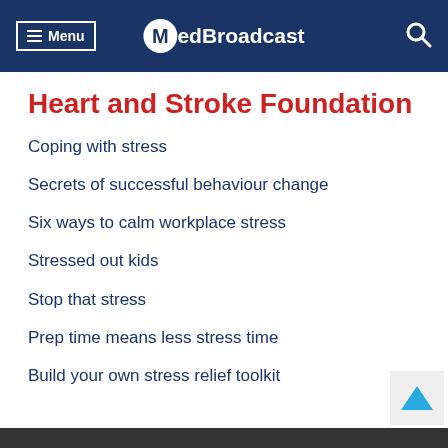≡ Menu  MedBroadcast
Heart and Stroke Foundation
Coping with stress
Secrets of successful behaviour change
Six ways to calm workplace stress
Stressed out kids
Stop that stress
Prep time means less stress time
Build your own stress relief toolkit